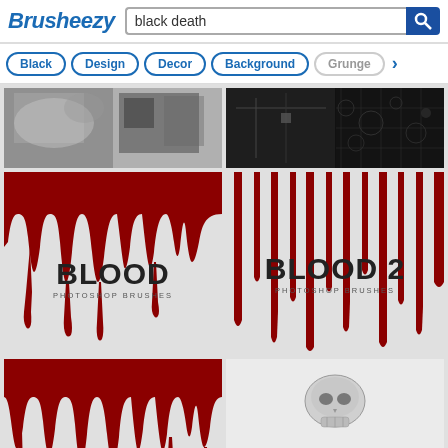Brusheezy — black death search
Black
Design
Decor
Background
Grunge
[Figure (photo): Grunge texture thumbnail — grayscale smoke/grunge brushes]
[Figure (photo): Circuit board / bubbles texture thumbnail — dark black and white]
[Figure (illustration): Blood Photoshop Brushes — red dripping blood on light gray background with text BLOOD / PHOTOSHOP BRUSHES]
[Figure (illustration): Blood 2 Photoshop Brushes — red vertical streaks on light gray background with text BLOOD 2 / PHOTOSHOP BRUSHES]
[Figure (illustration): Blood 3 Photoshop Brushes — red dripping blood on light gray background with text BLOOD 3 / PHOTOSHOP BRUSHES]
[Figure (illustration): Vintage Skulls Photoshop Brushes — metallic silver skull illustrations on light gray background]